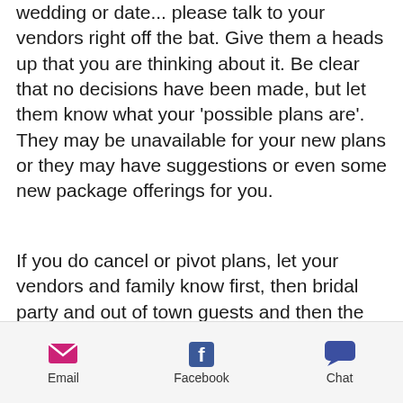wedding or date... please talk to your vendors right off the bat. Give them a heads up that you are thinking about it. Be clear that no decisions have been made, but let them know what your 'possible plans are'. They may be unavailable for your new plans or they may have suggestions or even some new package offerings for you.
If you do cancel or pivot plans, let your vendors and family know first, then bridal party and out of town guests and then the rest of your guests. Give them as much time as possible to pivot with you. Communication is KEY.
Email  Facebook  Chat